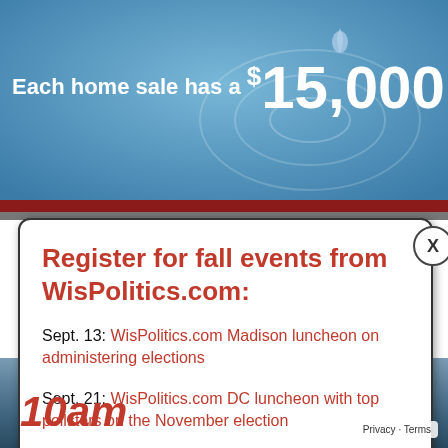[Figure (infographic): Blue water ripple background with text: Each home sale has a $15,000 ripple effect on the local economy]
Register for fall events from WisPolitics.com:
Sept. 13: WisPolitics.com Madison luncheon on administering elections
Sept. 21: WisPolitics.com DC luncheon with top pollsters on the November election
Sept. 29: Annual WisPolitics.com Midwest Polling Summit
Oct. 18: WisPolitics.com Madison luncheon on top legislative races
10am
Privacy · Terms